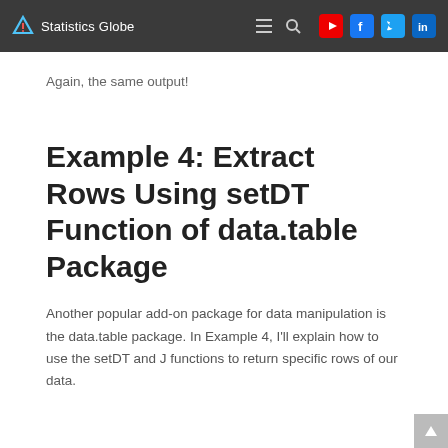Statistics Globe
Again, the same output!
Example 4: Extract Rows Using setDT Function of data.table Package
Another popular add-on package for data manipulation is the data.table package. In Example 4, I'll explain how to use the setDT and J functions to return specific rows of our data.